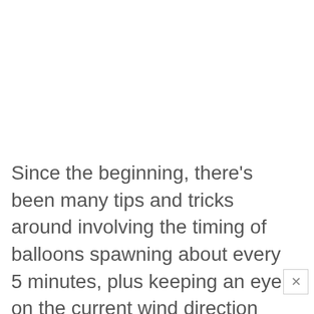Since the beginning, there's been many tips and tricks around involving the timing of balloons spawning about every 5 minutes, plus keeping an eye on the current wind direction and watching the beach.